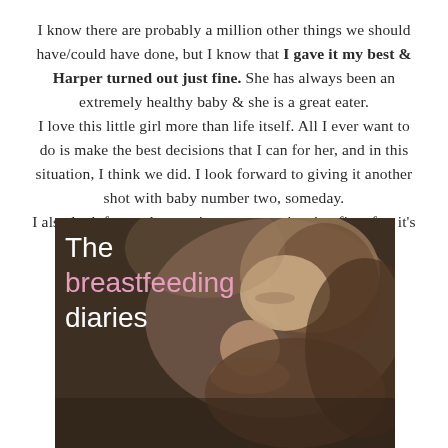I know there are probably a million other things we should have/could have done, but I know that I gave it my best & Harper turned out just fine. She has always been an extremely healthy baby & she is a great eater. I love this little girl more than life itself. All I ever want to do is make the best decisions that I can for her, and in this situation, I think we did. I look forward to giving it another shot with baby number two, someday. I also look forward to putting my pump in a bonfire after it's all said & done.
[Figure (photo): Sepia-toned photo of a mother gently kissing a newborn baby she is holding close. White text overlay reads 'The breastfeeding diaries' with 'breastfeeding' in pink.]